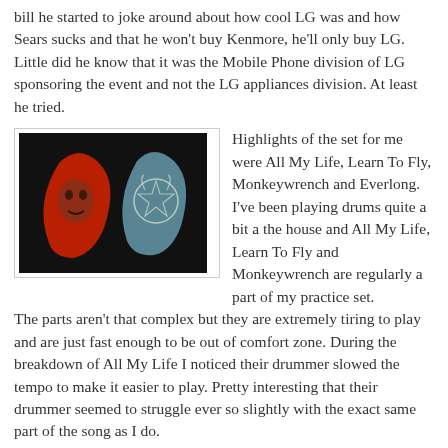bill he started to joke around about how cool LG was and how Sears sucks and that he won't buy Kenmore, he'll only buy LG. Little did he know that it was the Mobile Phone division of LG sponsoring the event and not the LG appliances division. At least he tried.
[Figure (photo): Two guitar picks on a dark background — one red with a face design, one gray/teal with a pentagram goat head design]
Highlights of the set for me were All My Life, Learn To Fly, Monkeywrench and Everlong. I've been playing drums quite a bit a the house and All My Life, Learn To Fly and Monkeywrench are regularly a part of my practice set. The parts aren't that complex but they are extremely tiring to play and are just fast enough to be out of comfort zone. During the breakdown of All My Life I noticed their drummer slowed the tempo to make it easier to play. Pretty interesting that their drummer seemed to struggle ever so slightly with the exact same part of the song as I do.
The oddest part of the show was you had many people,